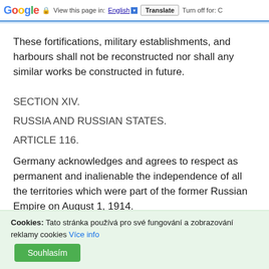Google | View this page in: English | Translate | Turn off for: C
These fortifications, military establishments, and harbours shall not be reconstructed nor shall any similar works be constructed in future.
SECTION XIV.
RUSSIA AND RUSSIAN STATES.
ARTICLE 116.
Germany acknowledges and agrees to respect as permanent and inalienable the independence of all the territories which were part of the former Russian Empire on August 1, 1914.
Cookies: Tato stránka používá pro své fungování a zobrazování reklamy cookies Více info Souhlasím